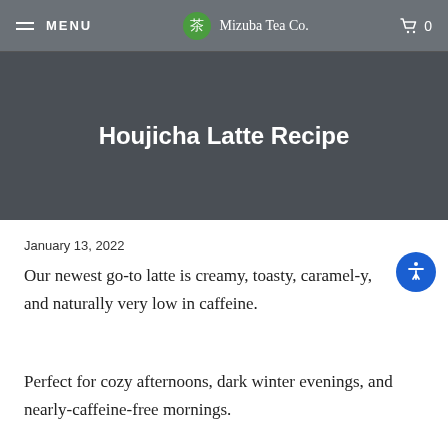MENU | Mizuba Tea Co. | 0
Houjicha Latte Recipe
January 13, 2022
Our newest go-to latte is creamy, toasty, caramel-y, and naturally very low in caffeine.
Perfect for cozy afternoons, dark winter evenings, and nearly-caffeine-free mornings.